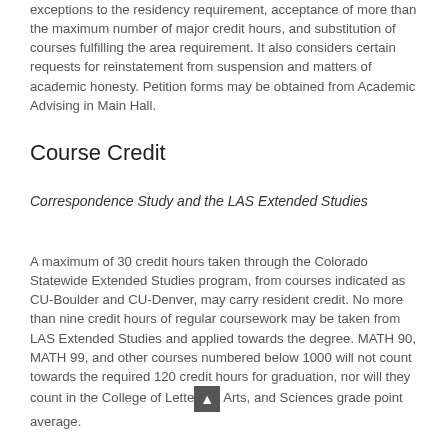exceptions to the residency requirement, acceptance of more than the maximum number of major credit hours, and substitution of courses fulfilling the area requirement. It also considers certain requests for reinstatement from suspension and matters of academic honesty. Petition forms may be obtained from Academic Advising in Main Hall.
Course Credit
Correspondence Study and the LAS Extended Studies
A maximum of 30 credit hours taken through the Colorado Statewide Extended Studies program, from courses indicated as CU-Boulder and CU-Denver, may carry resident credit. No more than nine credit hours of regular coursework may be taken from LAS Extended Studies and applied towards the degree. MATH 90, MATH 99, and other courses numbered below 1000 will not count towards the required 120 credit hours for graduation, nor will they count in the College of Letters, Arts, and Sciences grade point average.